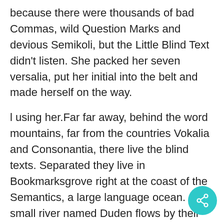because there were thousands of bad Commas, wild Question Marks and devious Semikoli, but the Little Blind Text didn't listen. She packed her seven versalia, put her initial into the belt and made herself on the way.
l using her.Far far away, behind the word mountains, far from the countries Vokalia and Consonantia, there live the blind texts. Separated they live in Bookmarksgrove right at the coast of the Semantics, a large language ocean. A small river named Duden flows by their place and supplies it with the necessary regelialia.[/vc_column_text][/vc_column][/vc_row]